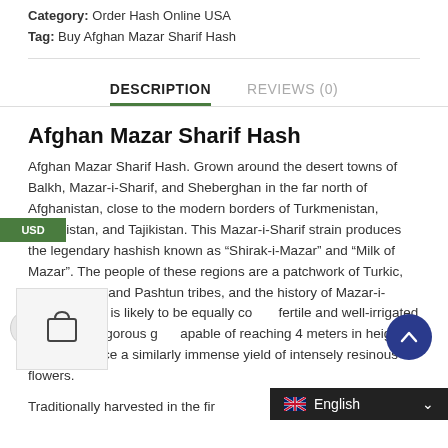Category: Order Hash Online USA
Tag: Buy Afghan Mazar Sharif Hash
DESCRIPTION
REVIEWS (0)
Afghan Mazar Sharif Hash
Afghan Mazar Sharif Hash. Grown around the desert towns of Balkh, Mazar-i-Sharif, and Sheberghan in the far north of Afghanistan, close to the modern borders of Turkmenistan, Uzbekistan, and Tajikistan. This Mazar-i-Sharif strain produces the legendary hashish known as “Shirak-i-Mazar” and “Milk of Mazar”. The people of these regions are a patchwork of Turkic, Tajik, Afghan and Pashtun tribes, and the history of Mazar-i-Sharif strains is likely to be equally complex. In the fertile and well-irrigated soils these vigorous grow capable of reaching 4 meters in height or more and produce a similarly immense yield of intensely resinous flowers.
Traditionally harvested in the fir